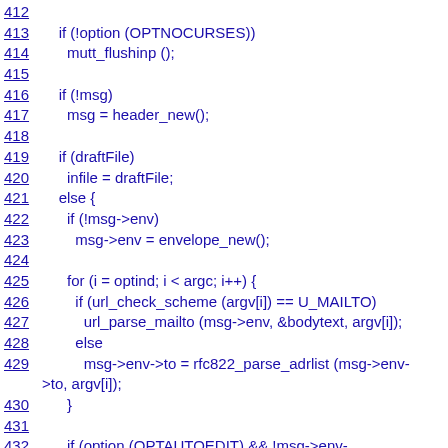412
413    if (!option (OPTNOCURSES))
414      mutt_flushinp ();
415
416    if (!msg)
417      msg = header_new();
418
419    if (draftFile)
420      infile = draftFile;
421    else {
422      if (!msg->env)
423        msg->env = envelope_new();
424
425      for (i = optind; i < argc; i++) {
426        if (url_check_scheme (argv[i]) == U_MAILTO)
427          url_parse_mailto (msg->env, &bodytext, argv[i]);
428        else
429          msg->env->to = rfc822_parse_adrlist (msg->env->to, argv[i]);
430      }
431
432      if (option (OPTAUTOEDIT) && !msg->env->to && !msg->env->cc) {
433        if (!option (OPTNOCURSES))
434          mutt_endwin (NULL);